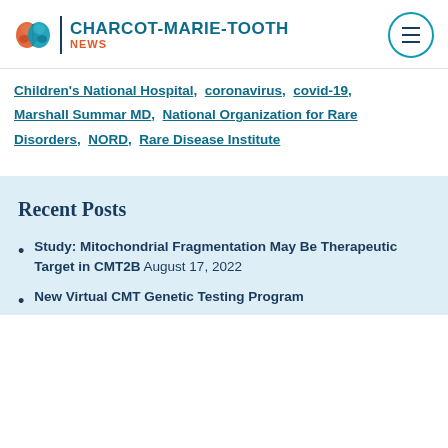CHARCOT-MARIE-TOOTH NEWS
Children's National Hospital, coronavirus, covid-19, Marshall Summar MD, National Organization for Rare Disorders, NORD, Rare Disease Institute
Recent Posts
Study: Mitochondrial Fragmentation May Be Therapeutic Target in CMT2B August 17, 2022
New Virtual CMT Genetic Testing Program